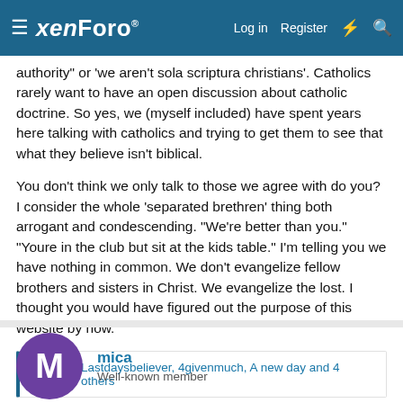xenForo — Log in | Register
authority" or 'we aren't sola scriptura christians'. Catholics rarely want to have an open discussion about catholic doctrine. So yes, we (myself included) have spent years here talking with catholics and trying to get them to see that what they believe isn't biblical.

You don't think we only talk to those we agree with do you? I consider the whole 'separated brethren' thing both arrogant and condescending. "We're better than you." "Youre in the club but sit at the kids table." I'm telling you we have nothing in common. We don't evangelize fellow brothers and sisters in Christ. We evangelize the lost. I thought you would have figured out the purpose of this website by now.
👍 😍 Lastdaysbeliever, 4givenmuch, A new day and 4 others
mica
Well-known member